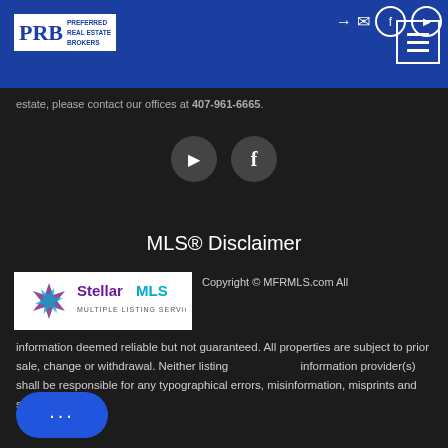[Figure (logo): PRB Preferred Real Estate Brokers logo in blue header bar with navigation icons]
estate, please contact our offices at 407-961-6665.
[Figure (illustration): Social media icons: YouTube and Facebook circular buttons]
MLS® Disclaimer
[Figure (logo): Stellar MLS logo with star graphic]
Copyright © MFRMLS.com All information deemed reliable but not guaranteed. All properties are subject to prior sale, change or withdrawal. Neither listing broker(s) nor information provider(s) shall be responsible for any typographical errors, misinformation, misprints and shall be held